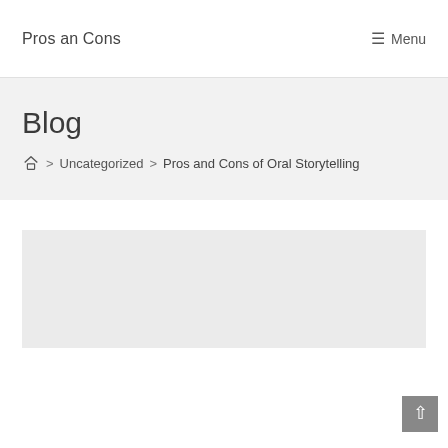Pros an Cons  ☰ Menu
Blog
🏠 > Uncategorized > Pros and Cons of Oral Storytelling
[Figure (other): Gray advertisement placeholder box]